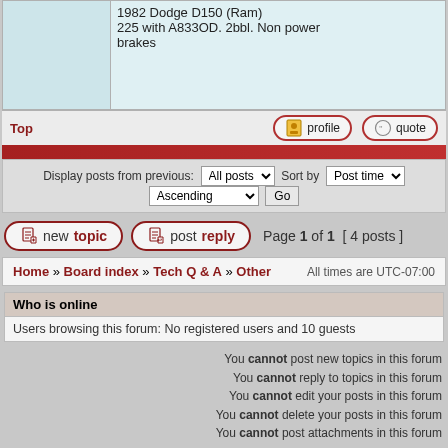1982 Dodge D150 (Ram) 225 with A833OD. 2bbl. Non power brakes
Top
[Figure (screenshot): Profile and Quote buttons]
Display posts from previous: All posts Sort by Post time Ascending Go
newtopic  postreply  Page 1 of 1  [ 4 posts ]
Home » Board index » Tech Q & A » Other   All times are UTC-07:00
Who is online
Users browsing this forum: No registered users and 10 guests
You cannot post new topics in this forum
You cannot reply to topics in this forum
You cannot edit your posts in this forum
You cannot delete your posts in this forum
You cannot post attachments in this forum
Search for:  Jump to: Other  Go
Powered by phpBB® Forum Software © phpBB Limited